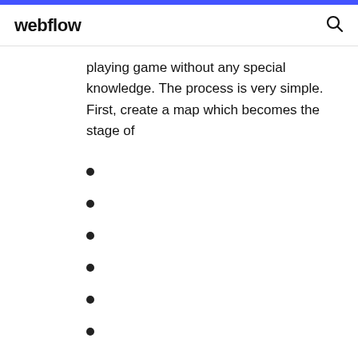webflow
playing game without any special knowledge. The process is very simple. First, create a map which becomes the stage of
1322
1033
182